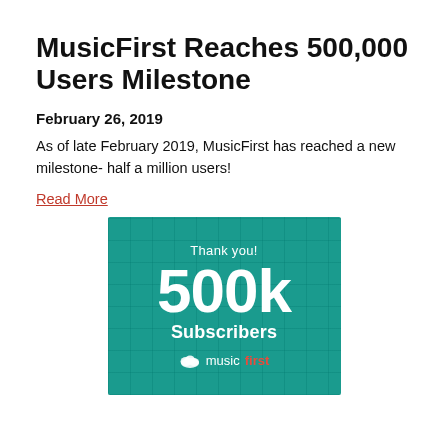MusicFirst Reaches 500,000 Users Milestone
February 26, 2019
As of late February 2019, MusicFirst has reached a new milestone- half a million users!
Read More
[Figure (infographic): Teal banner graphic with text: Thank you! 500k Subscribers, with the MusicFirst logo (cloud icon + 'music' in white and 'first' in red) at the bottom.]